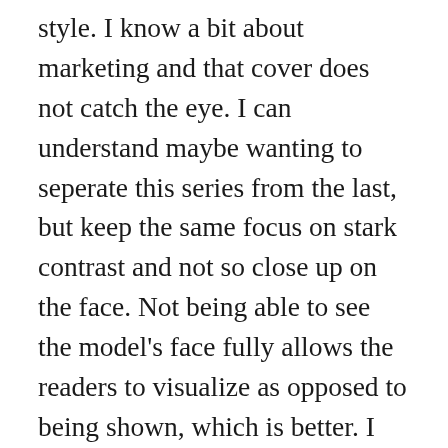style. I know a bit about marketing and that cover does not catch the eye. I can understand maybe wanting to seperate this series from the last, but keep the same focus on stark contrast and not so close up on the face. Not being able to see the model's face fully allows the readers to visualize as opposed to being shown, which is better. I remember the other cover grabbed me walking by. There is no way this one would. The goal is to pick up new readers too, not just live off of your existing fan base. I will read your next book no matter what because I loved your last series and I've got other non-fantasy readers picking up your stuff too. Don't make it harder, do your books justice and have your covers be a one of a kind work